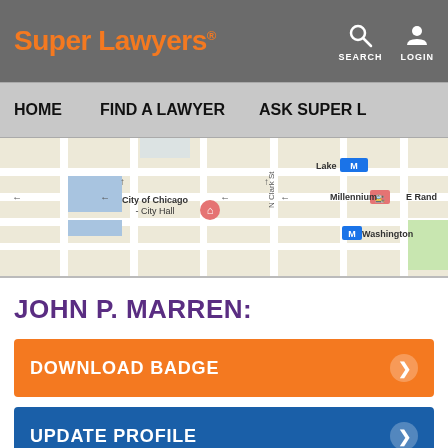Super Lawyers® — SEARCH | LOGIN
HOME   FIND A LAWYER   ASK SUPER L
[Figure (map): Street map of downtown Chicago showing City Hall area, Lake M station, Millennium station, Washington M station, N Clark St, E Rand area]
JOHN P. MARREN:
DOWNLOAD BADGE
UPDATE PROFILE
ORDER ONLINE